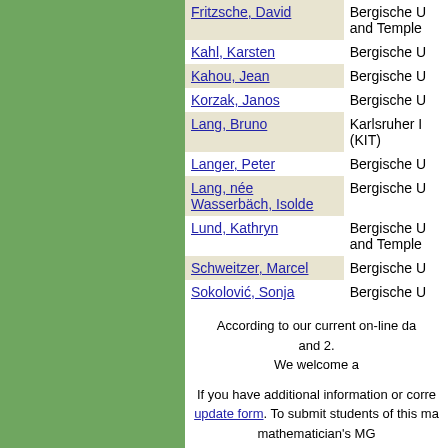| Name | Institution |
| --- | --- |
| Fritzsche, David | Bergische U and Temple |
| Kahl, Karsten | Bergische U |
| Kahou, Jean | Bergische U |
| Korzak, Janos | Bergische U |
| Lang, Bruno | Karlsruher I (KIT) |
| Langer, Peter | Bergische U |
| Lang, née Wasserbäch, Isolde | Bergische U |
| Lund, Kathryn | Bergische U and Temple |
| Schweitzer, Marcel | Bergische U |
| Sokolović, Sonja | Bergische U |
According to our current on-line da and 2. We welcome a
If you have additional information or corre update form. To submit students of this ma mathematician's MG